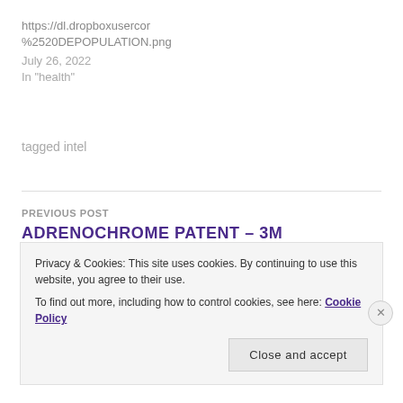https://dl.dropboxusercor
%2520DEPOPULATION.png
July 26, 2022
In "health"
tagged intel
PREVIOUS POST
ADRENOCHROME PATENT – 3M
Privacy & Cookies: This site uses cookies. By continuing to use this website, you agree to their use.
To find out more, including how to control cookies, see here: Cookie Policy
Close and accept